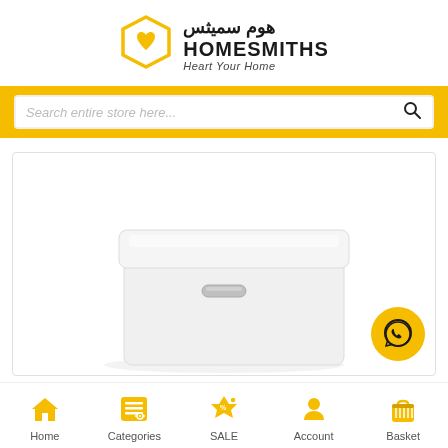[Figure (logo): Homesmiths logo with Arabic text هوم سميثس, English HOMESMITHS, tagline Heart Your Home, and hexagonal box icon in gold]
Search entire store here...
[Figure (photo): White rectangular box/container with lid and silver handle on a white background, top-loading appliance or storage box]
[Figure (infographic): WhatsApp icon button in gold circle]
Home
Categories
SALE
Account
Basket